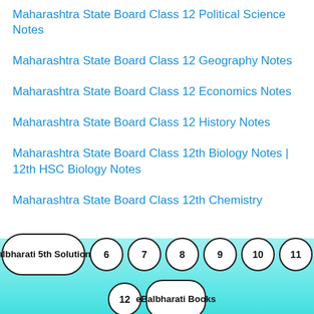Maharashtra State Board Class 12 Political Science Notes
Maharashtra State Board Class 12 Geography Notes
Maharashtra State Board Class 12 Economics Notes
Maharashtra State Board Class 12 History Notes
Maharashtra State Board Class 12th Biology Notes | 12th HSC Biology Notes
Maharashtra State Board Class 12th Chemistry
Balbharati 5th Solutions  6  7  8  9  10  11  12  eBalbharati Books